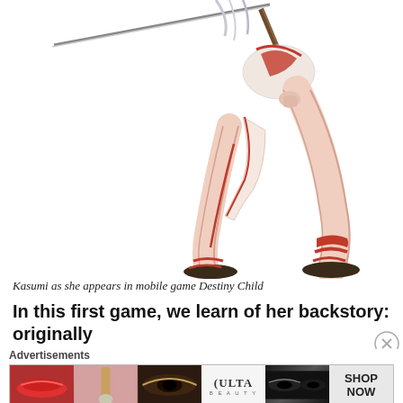[Figure (illustration): Illustration of Kasumi, a female anime-style character holding a long staff/spear, wearing a white and red outfit with red sandals, shown from torso down.]
Kasumi as she appears in mobile game Destiny Child
In this first game, we learn of her backstory: originally
[Figure (other): Ulta Beauty advertisement banner showing close-up beauty/makeup images including lips, brush, eye, Ulta logo, dramatic eye makeup, and SHOP NOW button.]